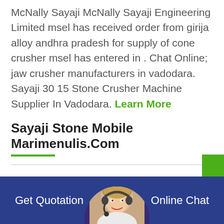McNally Sayaji McNally Sayaji Engineering Limited msel has received order from girija alloy andhra pradesh for supply of cone crusher msel has entered in . Chat Online; jaw crusher manufacturers in vadodara. Sayaji 30 15 Stone Crusher Machine Supplier In Vadodara. Learn More
Sayaji Stone Mobile Marimenulis.Com
Sayazi Stone Crusher M C Baroda Indiain Kenya. Sayazi Stone Crusher M C Baroda Indiain Kenya. Laboratory Horizontal Planetary Ball Mill lab mills.com. Sayaji ms sand machines shayaji stone crusher m sand machineries in baroda sayaji
Get Quotation   Online Chat